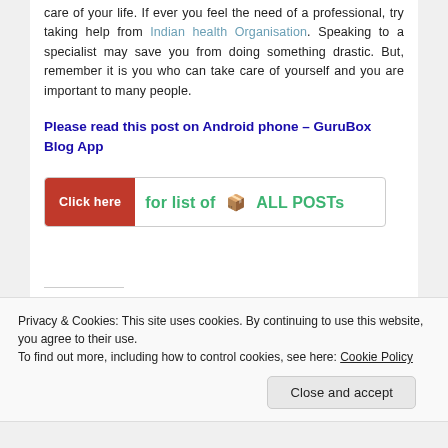care of your life. If ever you feel the need of a professional, try taking help from Indian health Organisation. Speaking to a specialist may save you from doing something drastic. But, remember it is you who can take care of yourself and you are important to many people.
Please read this post on Android phone – GuruBox Blog App
[Figure (other): Banner with red 'Click here' button and green text reading 'for list of ALL POSTs' with a box icon]
Privacy & Cookies: This site uses cookies. By continuing to use this website, you agree to their use.
To find out more, including how to control cookies, see here: Cookie Policy
Close and accept